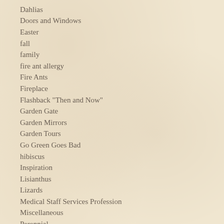Dahlias
Doors and Windows
Easter
fall
family
fire ant allergy
Fire Ants
Fireplace
Flashback "Then and Now"
Garden Gate
Garden Mirrors
Garden Tours
Go Green Goes Bad
hibiscus
Inspiration
Lisianthus
Lizards
Medical Staff Services Profession
Miscellaneous
Perennial
Photography Classes
Po...